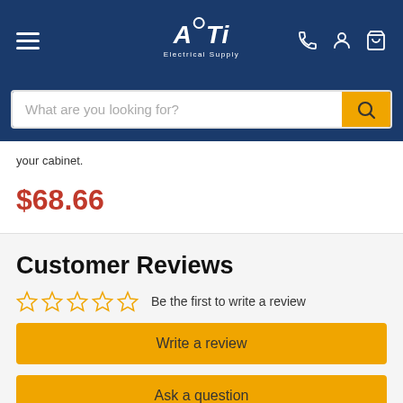[Figure (logo): ATi Electrical Supply logo in white on dark blue header background]
[Figure (screenshot): Search bar with placeholder text 'What are you looking for?' and orange search button]
your cabinet.
$68.66
Customer Reviews
Be the first to write a review
Write a review
Ask a question